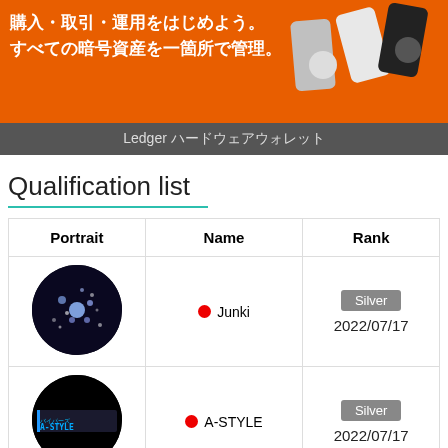[Figure (photo): Orange banner advertisement for Ledger hardware wallet with Japanese text and device images. Gray bottom bar reads: Ledger ハードウェアウォレット]
Qualification list
| Portrait | Name | Rank |
| --- | --- | --- |
| [star photo] | ● Junki | Silver
2022/07/17 |
| [A-STYLE photo] | ● A-STYLE | Silver
2022/07/17 |
| [default avatar] | ● □□□ | Silver
2022/07/1... |